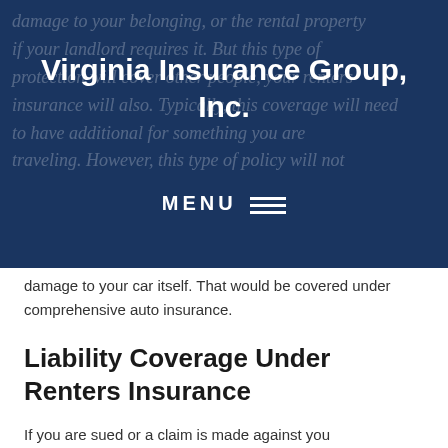Virginia Insurance Group, Inc.
damage to your car itself. That would be covered under comprehensive auto insurance.
Liability Coverage Under Renters Insurance
If you are sued or a claim is made against you